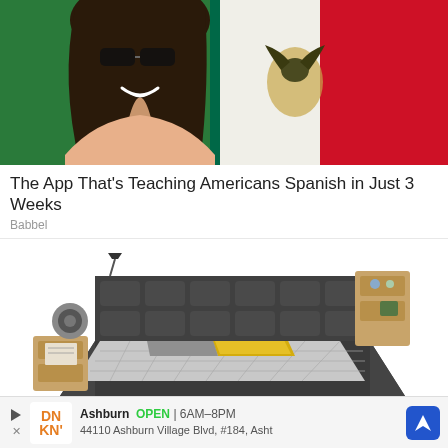[Figure (photo): Woman smiling with sunglasses overlaid on Mexican flag (green, white, red with eagle emblem)]
The App That's Teaching Americans Spanish in Just 3 Weeks
Babbel
[Figure (photo): Luxury multifunctional smart bed with dark grey upholstery, built-in speakers, shelving, lighting and a yellow pillow on grey checkered bedding]
Adjustable Beds Are Taking Over And Are Now On Sale
Adjusta
Ashburn  OPEN | 6AM–8PM  44110 Ashburn Village Blvd, #184, Asht